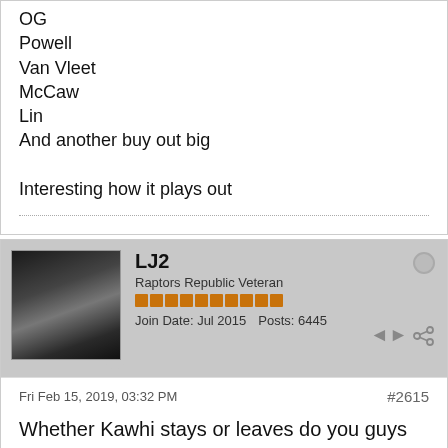OG
Powell
Van Vleet
McCaw
Lin
And another buy out big

Interesting how it plays out
LJ2
Raptors Republic Veteran
Join Date: Jul 2015   Posts: 6445
Fri Feb 15, 2019, 03:32 PM
#2615
Whether Kawhi stays or leaves do you guys think Masai tries to move Lowry in the summer?
DanH